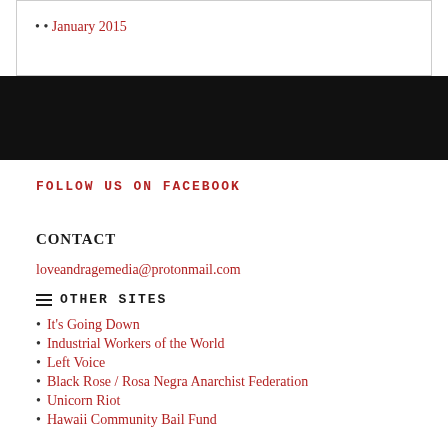January 2015
FOLLOW US ON FACEBOOK
CONTACT
loveandragemedia@protonmail.com
OTHER SITES
It's Going Down
Industrial Workers of the World
Left Voice
Black Rose / Rosa Negra Anarchist Federation
Unicorn Riot
Hawaii Community Bail Fund